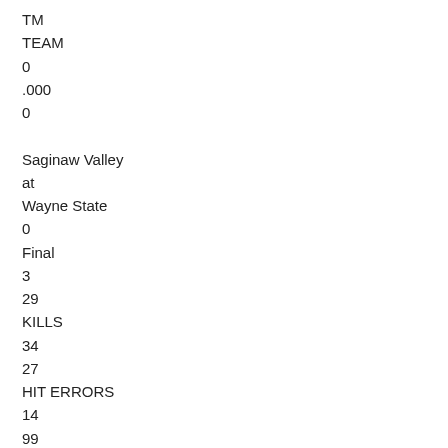TM
TEAM
0
.000
0

Saginaw Valley
at
Wayne State
0
Final
3
29
KILLS
34
27
HIT ERRORS
14
99
ATTACKS
91
.020
HIT %
.220
27
ASSISTS
32
2
SERVICE ACES